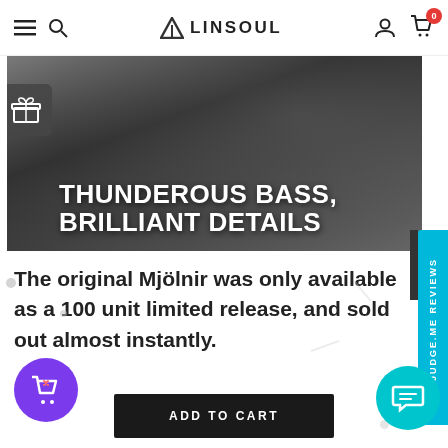LINSOUL — navigation bar with hamburger menu, search, logo, user icon, and cart (0)
[Figure (photo): Dark monochrome hero banner image with text overlay reading THUNDEROUS BASS, BRILLIANT DETAILS in bold white uppercase letters]
The original Mjölnir was only available as a 100 unit limited release, and sold out almost instantly.
made up of only a singular engineer who b